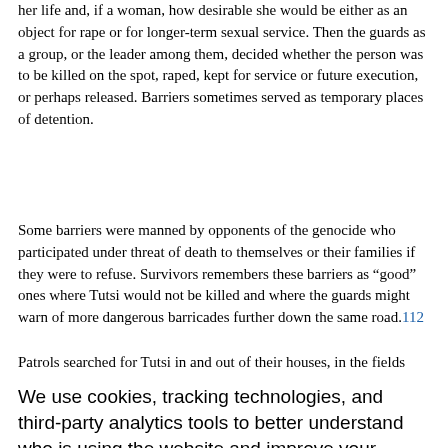her life and, if a woman, how desirable she would be either as an object for rape or for longer-term sexual service. Then the guards as a group, or the leader among them, decided whether the person was to be killed on the spot, raped, kept for service or future execution, or perhaps released. Barriers sometimes served as temporary places of detention.
Some barriers were manned by opponents of the genocide who participated under threat of death to themselves or their families if they were to refuse. Survivors remembers these barriers as “good” ones where Tutsi would not be killed and where the guards might warn of more dangerous barricades further down the same road.112
Patrols searched for Tutsi in and out of their houses, in the fields
We use cookies, tracking technologies, and third-party analytics tools to better understand who is using the website and improve your experience. By using our website you are agreeing to this. Read our privacy policy to find out what cookies are used for and how to change your settings.